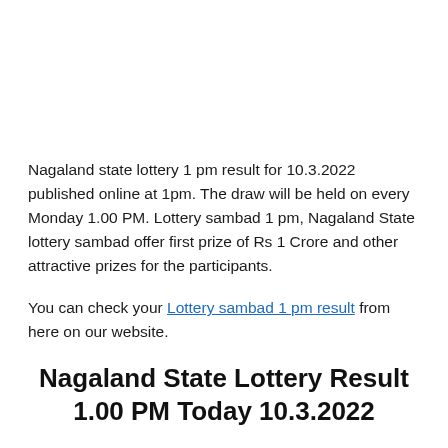Nagaland state lottery 1 pm result for 10.3.2022 published online at 1pm. The draw will be held on every Monday 1.00 PM. Lottery sambad 1 pm, Nagaland State lottery sambad offer first prize of Rs 1 Crore and other attractive prizes for the participants.
You can check your Lottery sambad 1 pm result from here on our website.
Nagaland State Lottery Result 1.00 PM Today 10.3.2022